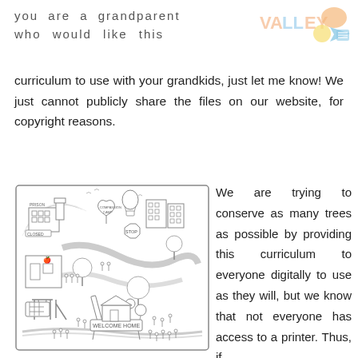you are a grandparent who would like this curriculum to use with your grandkids, just let me know! We just cannot publicly share the files on our website, for copyright reasons.
[Figure (illustration): Black and white coloring page illustration showing a community map with scenes including a prison labeled 'PRISON' marked 'CLOSED', a 'COMPASSION CAMP' heart sign, buildings, roads, trees, playground, and a 'WELCOME HOME' sign with many small figures of people throughout.]
We are trying to conserve as many trees as possible by providing this curriculum to everyone digitally to use as they will, but we know that not everyone has access to a printer. Thus, if